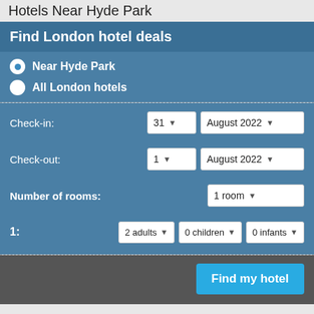Hotels Near Hyde Park
Find London hotel deals
Near Hyde Park
All London hotels
Check-in: 31 August 2022
Check-out: 1 August 2022
Number of rooms: 1 room
1: 2 adults 0 children 0 infants
Find my hotel
London Hotels